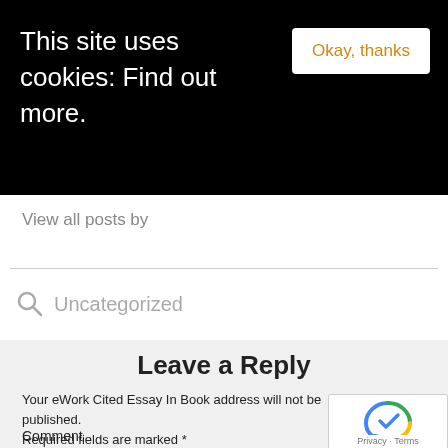This site uses cookies: Find out more.
Okay, thanks
View all posts by
Uncategorized
Leave a Reply
Your eWork Cited Essay In Book address will not be published. Required fields are marked *
Comment